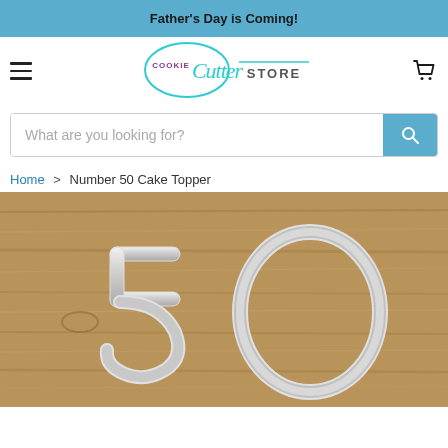Father's Day is Coming!
[Figure (logo): Cookie Cutter Store logo with teal script lettering]
What are you looking for?
Home > Number 50 Cake Topper
[Figure (photo): A shiny silver Number 50 cake topper on a wooden surface]